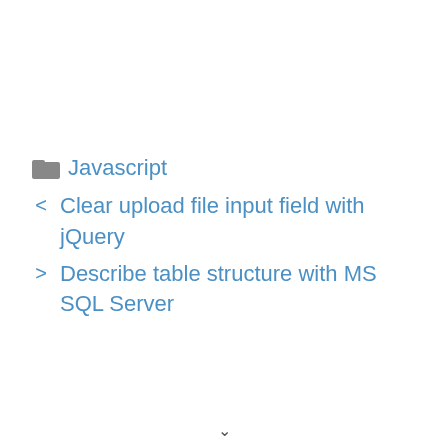Javascript
< Clear upload file input field with jQuery
> Describe table structure with MS SQL Server